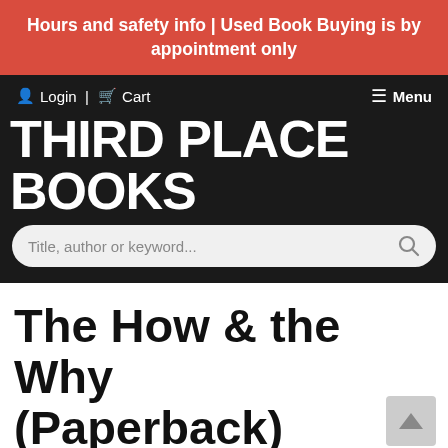Hours and safety info | Used Book Buying is by appointment only
Login | Cart
☰ Menu
THIRD PLACE BOOKS
Title, author or keyword...
The How & the Why (Paperback)